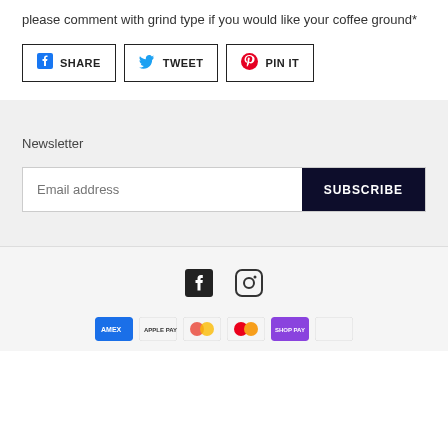please comment with grind type if you would like your coffee ground*
[Figure (infographic): Three social share buttons: SHARE (Facebook), TWEET (Twitter), PIN IT (Pinterest)]
Newsletter
Email address  SUBSCRIBE
[Figure (infographic): Social media icons: Facebook and Instagram]
[Figure (infographic): Payment method icons: American Express, Apple Pay, Google Pay, Mastercard, Shop Pay, and one more]